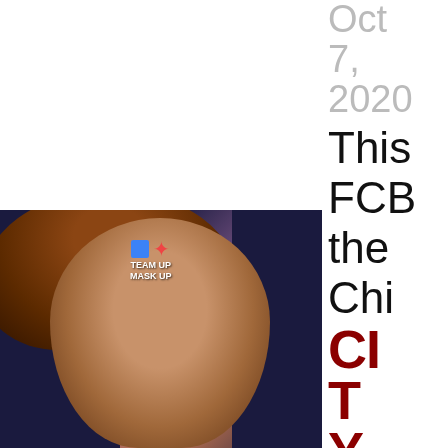Oct 7, 2020
This
FCB
the
Chi
CITY
[Figure (photo): Person wearing a face covering, with 'Team Up Mask Up' badge overlay featuring a blue square and red star icon, dark navy side panels]